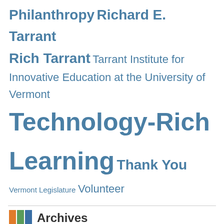Philanthropy Richard E. Tarrant Rich Tarrant Tarrant Institute for Innovative Education at the University of Vermont Technology-Rich Learning Thank You Vermont Legislature Volunteer
Archives
January 2020 (1)
June 2018 (1)
May 2018 (1)
October 2016 (1)
September 2016 (1)
April 2016 (1)
March 2016 (1)
October 2015 (1)
September 2015 (1)
May 2015 (1)
April 2015 (1)
October 2014 (2)
September 2014 (1)
March 2014 (1)
November 2013 (1)
September 2013 (1)
August 2013 (1)
April 2013 (1)
March 2013 (1)